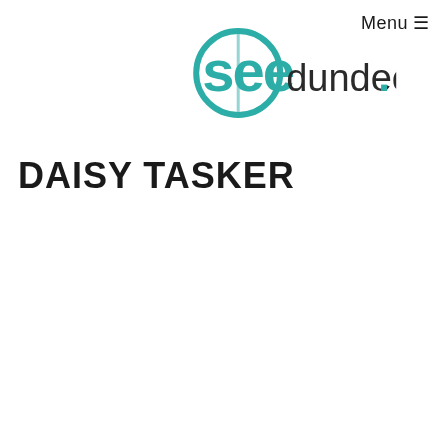Menu ☰
[Figure (logo): See Dundee logo: teal circular 'see' wordmark with teal outline circle, followed by 'dundee.' in dark grey sans-serif lowercase with a teal period]
DAISY TASKER